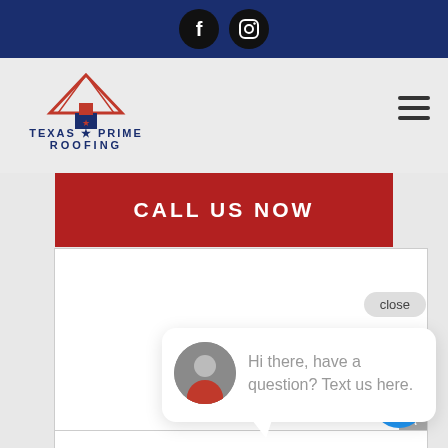[Figure (screenshot): Texas Prime Roofing website screenshot showing navy top bar with social icons, logo, hamburger menu, red CALL US NOW button, a chat popup with avatar saying 'Hi there, have a question? Text us here.', a close button, 'Roof Insp...' section header, scroll-up arrow, and blue chat FAB button.]
CALL US NOW
close
Hi there, have a question? Text us here.
Roof Insp